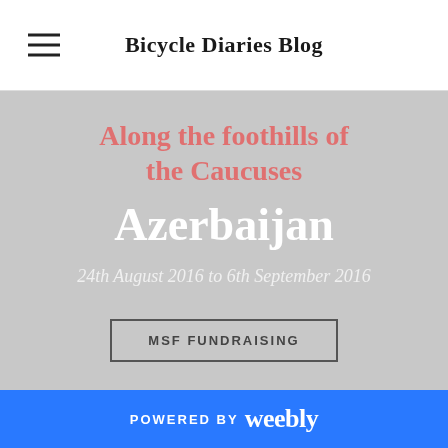Bicycle Diaries Blog
Along the foothills of the Caucuses
Azerbaijan
24th August 2016 to 6th September 2016
MSF FUNDRAISING
POWERED BY weebly